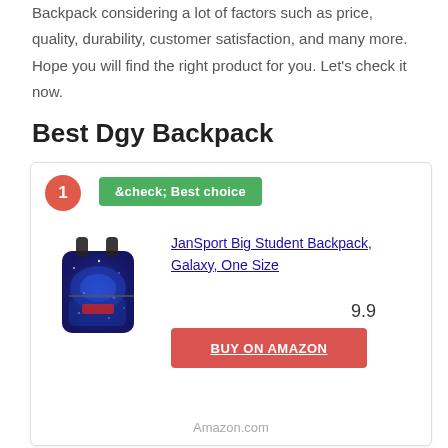Backpack considering a lot of factors such as price, quality, durability, customer satisfaction, and many more. Hope you will find the right product for you. Let's check it now.
Best Dgy Backpack
1 — ✓ Best choice | JanSport Big Student Backpack, Galaxy, One Size | 9.9 | BUY ON AMAZON | Amazon.com
2 — UTO Women Backpack Purse Leather Vegan Ladies Fashion Designer